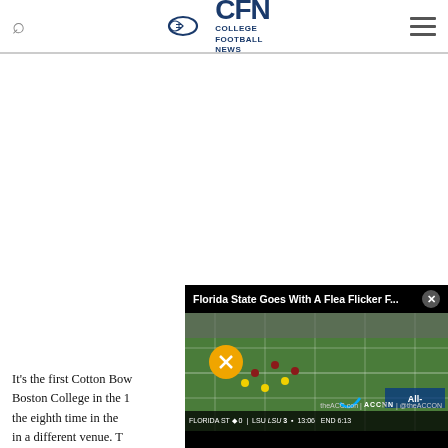CFN College Football News
[Figure (screenshot): Video overlay showing Florida State Goes With A Flea Flicker F... with football game footage, mute button, close button, and scoreboard showing Florida State 0 vs LSU 3]
It's the first Cotton Bowl for Boston College in the 1... the eighth time in the ... in a different venue. T... soup" comeback win ov... but the last time the m...